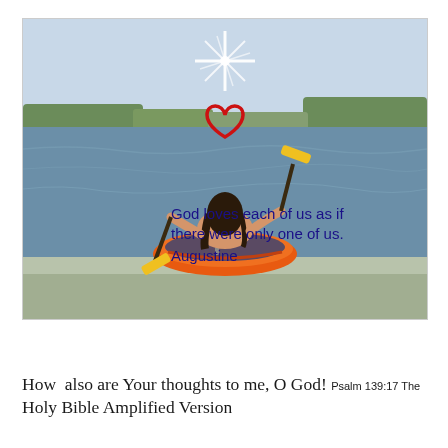[Figure (photo): Outdoor photo of a person sitting in an orange inflatable raft on open water, viewed from behind, paddling with yellow oars. Sky is light blue, distant tree line visible on horizon. Overlaid graphics include a white starburst/star flare at top center, a red heart outline below it, and dark blue text reading: 'God loves each of us as if there were only one of us. Augustine']
How  also are Your thoughts to me, O God! Psalm 139:17 The Holy Bible Amplified Version